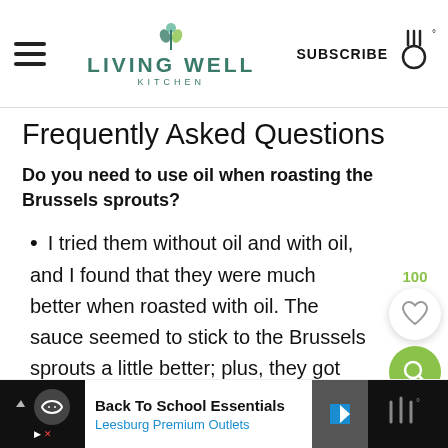LIVING WELL KITCHEN — SUBSCRIBE
Frequently Asked Questions
Do you need to use oil when roasting the Brussels sprouts?
I tried them without oil and with oil, and I found that they were much better when roasted with oil. The sauce seemed to stick to the Brussels sprouts a little better; plus, they got
[Figure (other): Floating UI panel with heart/like button showing count 100 and green search button]
[Figure (other): Advertisement banner: Back To School Essentials - Leesburg Premium Outlets]